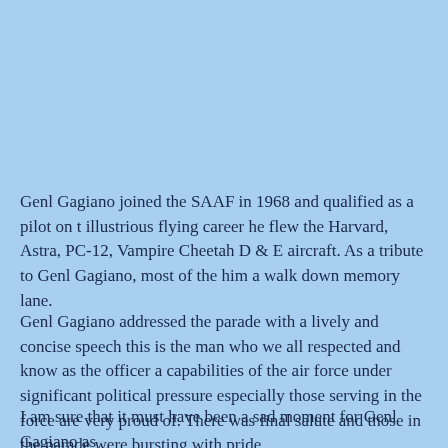Genl Gagiano joined the SAAF in 1968 and qualified as a pilot on t illustrious flying career he flew the Harvard, Astra, PC-12, Vampire Cheetah D & E aircraft. As a tribute to Genl Gagiano, most of the him a walk down memory lane.
Genl Gagiano addressed the parade with a lively and concise speech this is the man who we all respected and know as the officer a capabilities of the air force under significant political pressure especially those serving in the force are very proud of. There was final salute and those in the parade were bursting with pride.
I am sure that it must have been a sad moment for Genl Gagiano as